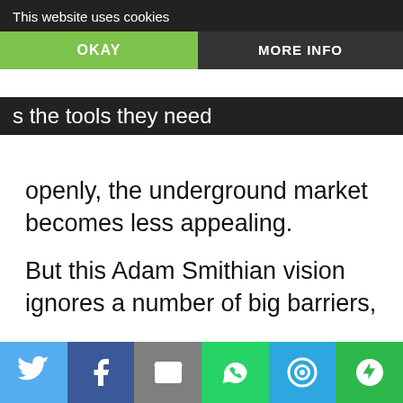This website uses cookies
equity. Finally, it's an attempt to dismantle the underground market. In theory, giving [people] the tools they need openly, the underground market becomes less appealing.
But this Adam Smithian vision ignores a number of big barriers, the first being that the regulatory cost of the legal market is significant: People I know buying in the illegal markets in Illinois, Michigan, and Missouri are consistently paying 40% less than dispensary prices, suggesting that, like gas station
Share buttons: Twitter, Facebook, Email, WhatsApp, SMS, More